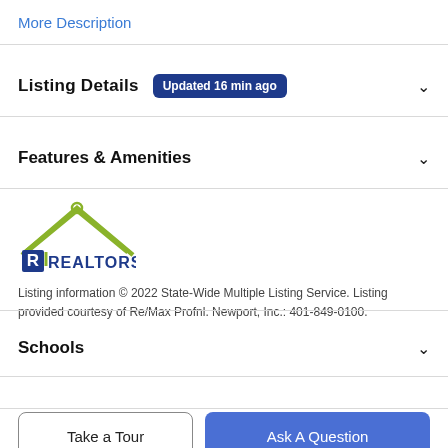More Description
Listing Details  Updated 16 min ago
Features & Amenities
[Figure (logo): RI Realtors logo with green roof/house silhouette and dark blue R block letter with REALTORS text]
Listing information © 2022 State-Wide Multiple Listing Service. Listing provided courtesy of Re/Max Profnl. Newport, Inc.: 401-849-0100.
Schools
Take a Tour
Ask A Question